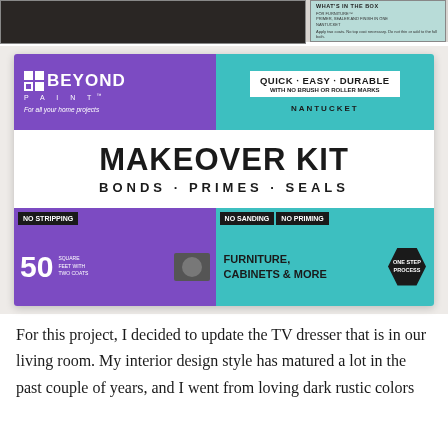[Figure (photo): Two photos at top: left shows dark furniture/dresser, right shows product box label reading 'WHAT'S IN THE BOX']
[Figure (photo): Photo of Beyond Paint Makeover Kit box in Nantucket color. Purple and teal packaging. Text: QUICK · EASY · DURABLE WITH NO BRUSH OR ROLLER MARKS, NANTUCKET, MAKEOVER KIT, BONDS · PRIMES · SEALS, NO STRIPPING, NO SANDING, NO PRIMING, 50 SQUARE FEET WITH TWO COATS, FURNITURE, CABINETS & MORE, ONE STEP PROCESS]
For this project, I decided to update the TV dresser that is in our living room. My interior design style has matured a lot in the past couple of years, and I went from loving dark rustic colors